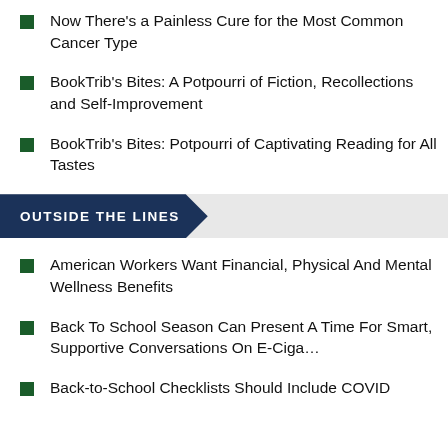Now There's a Painless Cure for the Most Common Cancer Type
BookTrib's Bites: A Potpourri of Fiction, Recollections and Self-Improvement
BookTrib's Bites: Potpourri of Captivating Reading for All Tastes
OUTSIDE THE LINES
American Workers Want Financial, Physical And Mental Wellness Benefits
Back To School Season Can Present A Time For Smart, Supportive Conversations On E-Ciga…
Back-to-School Checklists Should Include COVID